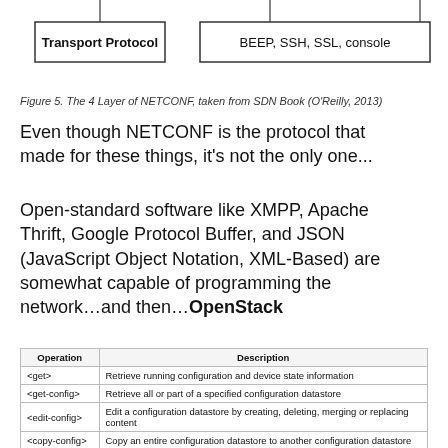[Figure (schematic): Partial diagram of the 4 Layer of NETCONF showing two boxes: 'Transport Protocol' on the left and 'BEEP, SSH, SSL, console' on the right, connected with vertical lines from above.]
Figure 5. The 4 Layer of NETCONF, taken from SDN Book (O'Reilly, 2013)
Even though NETCONF is the protocol that made for these things, it's not the only one...
Open-standard software like XMPP, Apache Thrift, Google Protocol Buffer, and JSON (JavaScript Object Notation, XML-Based) are somewhat capable of programming the network…and then…OpenStack
| Operation | Description |
| --- | --- |
| <get> | Retrieve running configuration and device state information |
| <get-config> | Retrieve all or part of a specified configuration datastore |
| <edit-config> | Edit a configuration datastore by creating, deleting, merging or replacing content |
| <copy-config> | Copy an entire configuration datastore to another configuration datastore |
| <delete-config> | Delete a configuration datastore |
| <lock> | Lock an entire configuration datastore of a device |